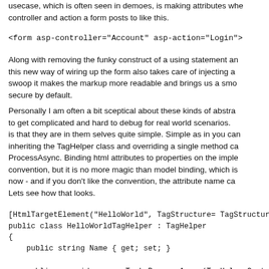usecase, which is often seen in demoes, is making attributes whe controller and action a form posts to like this.
<form asp-controller="Account" asp-action="Login">
Along with removing the funky construct of a using statement an this new way of wiring up the form also takes care of injecting a swoop it makes the markup more readable and brings us a smo secure by default.
Personally I am often a bit sceptical about these kinds of abstra to get complicated and hard to debug for real world scenarios. is that they are in them selves quite simple. Simple as in you can inheriting the TagHelper class and overriding a single method ca ProcessAsync. Binding html attributes to properties on the imple convention, but it is no more magic than model binding, which is now - and if you don't like the convention, the attribute name ca Lets see how that looks.
[HtmlTargetElement("HelloWorld", TagStructure= TagStructure.N
public class HelloWorldTagHelper : TagHelper
{
    public string Name { get; set; }

    public override async Task ProcessAsync(TagHelperContext